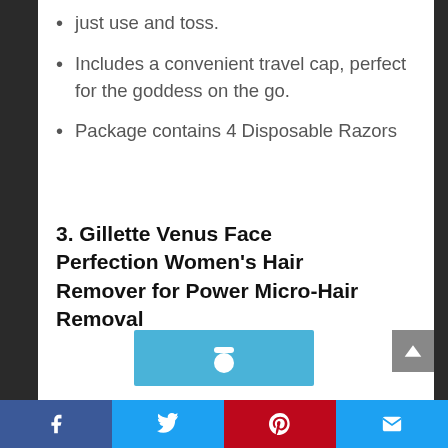just use and toss.
Includes a convenient travel cap, perfect for the goddess on the go.
Package contains 4 Disposable Razors
3. Gillette Venus Face Perfection Women’s Hair Remover for Power Micro-Hair Removal